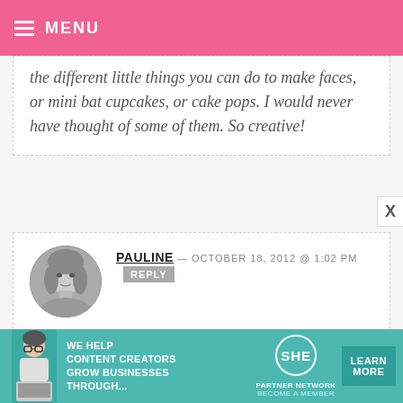MENU
the different little things you can do to make faces, or mini bat cupcakes, or cake pops. I would never have thought of some of them. So creative!
PAULINE — OCTOBER 18, 2012 @ 1:02 PM REPLY
So cool and funny!! :)

Xx

Pauline

http://pauline-au-pays-des-merveilles.blogspot.fr/
[Figure (infographic): SHE Partner Network advertisement banner with teal background, woman with laptop, text: WE HELP CONTENT CREATORS GROW BUSINESSES THROUGH... and LEARN MORE button]